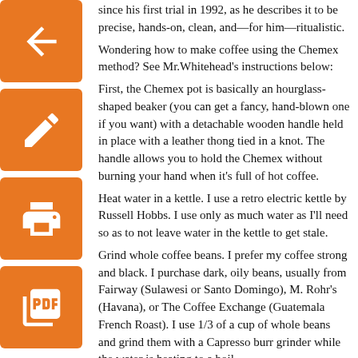since his first trial in 1992, as he describes it to be precise, hands-on, clean, and—for him—ritualistic.
Wondering how to make coffee using the Chemex method? See Mr.Whitehead's instructions below:
First, the Chemex pot is basically an hourglass-shaped beaker (you can get a fancy, hand-blown one if you want) with a detachable wooden handle held in place with a leather thong tied in a knot. The handle allows you to hold the Chemex without burning your hand when it's full of hot coffee.
Heat water in a kettle. I use a retro electric kettle by Russell Hobbs. I use only as much water as I'll need so as to not leave water in the kettle to get stale.
Grind whole coffee beans. I prefer my coffee strong and black. I purchase dark, oily beans, usually from Fairway (Sulawesi or Santo Domingo), M. Rohr's (Havana), or The Coffee Exchange (Guatemala French Roast). I use 1/3 of a cup of whole beans and grind them with a Capresso burr grinder while the water is heating to a boil.
After grinding the coffee, I dump it from the grinder hob into a Chemex filter inserted into the top of the pot (see attached web page).
After the water has boiled, I slowly pour the water in a thin stream over the ground coffee in a circular motion, and first let